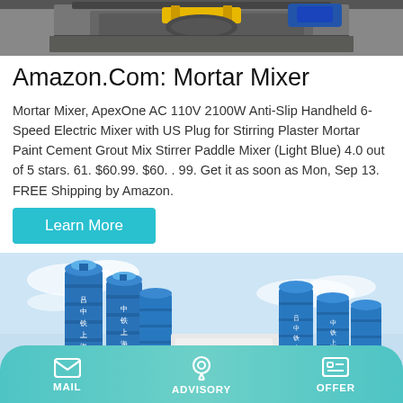[Figure (photo): Top portion of industrial mortar mixer machine on dark background]
Amazon.Com: Mortar Mixer
Mortar Mixer, ApexOne AC 110V 2100W Anti-Slip Handheld 6-Speed Electric Mixer with US Plug for Stirring Plaster Mortar Paint Cement Grout Mix Stirrer Paddle Mixer (Light Blue) 4.0 out of 5 stars. 61. $60.99. $60. . 99. Get it as soon as Mon, Sep 13. FREE Shipping by Amazon.
[Figure (photo): Blue industrial cement/concrete mixing silos with Chinese text (中铁上海局) in an outdoor industrial setting]
MAIL   ADVISORY   OFFER